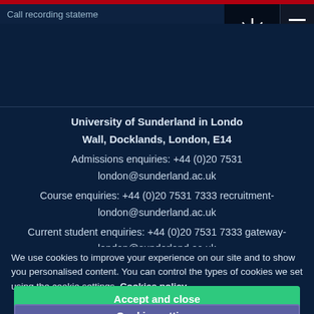Call recording stateme
University of Sunderland in London Wall, Docklands, London, E14
Admissions enquiries: +44 (0)20 7531 london@sunderland.ac.uk
Course enquiries: +44 (0)20 7531 7333 recruitment-london@sunderland.ac.uk
Current student enquiries: +44 (0)20 7531 7333 gateway-london@sunderland.ac.uk
We use cookies to improve your experience on our site and to show you personalised content. You can control the types of cookies we set using the cookie settings. Cookies policy
Accept and close
Cookie settings